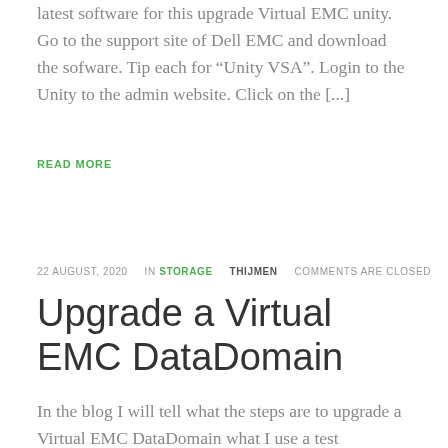latest software for this upgrade Virtual EMC unity. Go to the support site of Dell EMC and download the sofware. Tip each for “Unity VSA”. Login to the Unity to the admin website. Click on the [...]
READ MORE
22 AUGUST, 2020    IN STORAGE    THIJMEN    COMMENTS ARE CLOSED
Upgrade a Virtual EMC DataDomain
In the blog I will tell what the steps are to upgrade a Virtual EMC DataDomain what I use a test